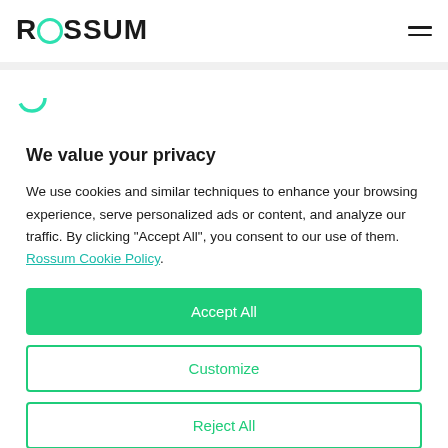ROSSUM
We value your privacy
We use cookies and similar techniques to enhance your browsing experience, serve personalized ads or content, and analyze our traffic. By clicking "Accept All", you consent to our use of them. Rossum Cookie Policy.
Accept All
Customize
Reject All